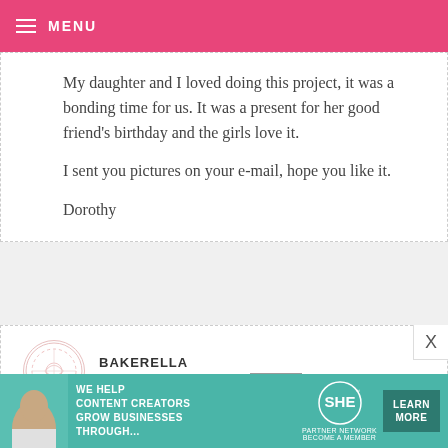MENU
My daughter and I loved doing this project, it was a bonding time for us. It was a present for her good friend's birthday and the girls love it.

I sent you pictures on your e-mail, hope you like it.

Dorothy
BAKERELLA — JULY 31, 2008 @ 4:02 AM  REPLY

thanks nyclizzie!
[Figure (infographic): SHE Partner Network advertisement banner with teal background, photo of woman, text 'WE HELP CONTENT CREATORS GROW BUSINESSES THROUGH...', SHE logo, and LEARN MORE button]